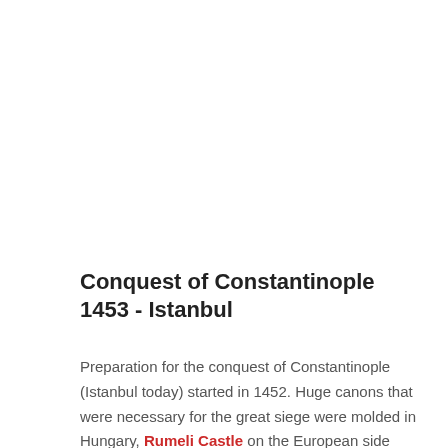Conquest of Constantinople 1453 - Istanbul
Preparation for the conquest of Constantinople (Istanbul today) started in 1452. Huge canons that were necessary for the great siege were molded in Hungary, Rumeli Castle on the European side was constructed to control the